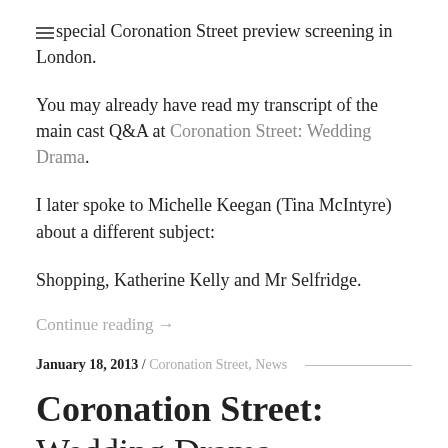special Coronation Street preview screening in London.
You may already have read my transcript of the main cast Q&A at Coronation Street: Wedding Drama.
I later spoke to Michelle Keegan (Tina McIntyre) about a different subject:
Shopping, Katherine Kelly and Mr Selfridge.
Continue reading →
January 18, 2013 / Coronation Street, News
Coronation Street: Wedding Drama